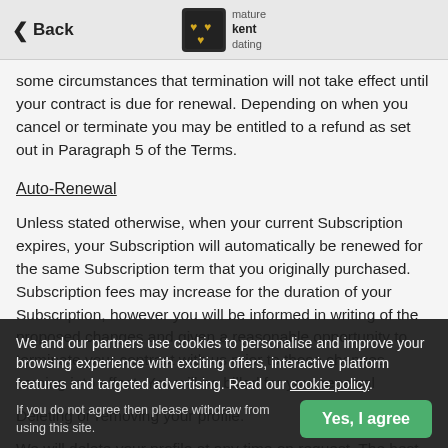Back | mature kent dating
some circumstances that termination will not take effect until your contract is due for renewal. Depending on when you cancel or terminate you may be entitled to a refund as set out in Paragraph 5 of the Terms.
Auto-Renewal
Unless stated otherwise, when your current Subscription expires, your Subscription will automatically be renewed for the same Subscription term that you originally purchased. Subscription fees may increase for the duration of your Subscription, however you will be informed in writing of the proposed changes and given a reasonable opportunity to terminate your contract with us prior to those changes coming into effect. You will be billed for your renewal
Deleting or removing your profile.
We will delete your profile at any time on request. The best way of
We and our partners use cookies to personalise and improve your browsing experience with exciting offers, interactive platform features and targeted advertising. Read our cookie policy.
If you do not agree then please withdraw from using this site.